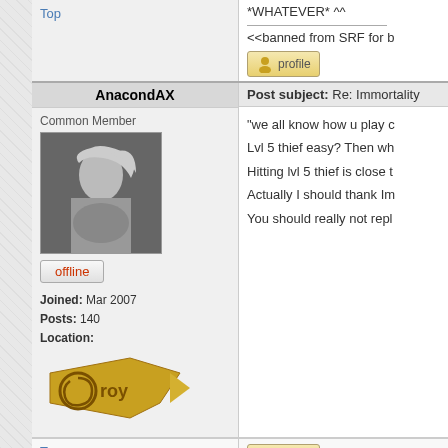*WHATEVER* ^^
<<banned from SRF for b
Top
[Figure (other): Profile button with user icon]
AnacondAX
Post subject: Re: Immortality
Common Member
[Figure (photo): Black and white photo of a woman]
offline
Joined: Mar 2007
Posts: 140
Location:
[Figure (illustration): Golden Troy logo badge]
"we all know how u play c
Lvl 5 thief easy? Then wh
Hitting lvl 5 thief is close t
Actually I should thank Im
You should really not repl
Top
[Figure (other): Profile button with user icon]
zero0isagod
Post subject: Re: Immortality